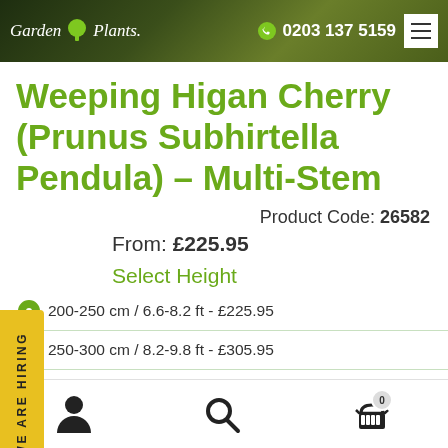Garden Plants | 0203 137 5159
Weeping Higan Cherry (Prunus Subhirtella Pendula) – Multi-Stem
Product Code: 26582
From: £225.95
Select Height
200-250 cm / 6.6-8.2 ft - £225.95
250-300 cm / 8.2-9.8 ft - £305.95
WE ARE HIRING